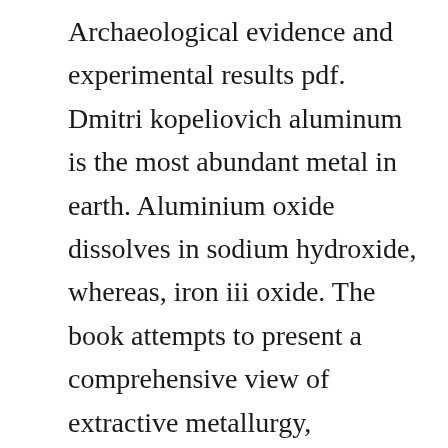Archaeological evidence and experimental results pdf. Dmitri kopeliovich aluminum is the most abundant metal in earth. Aluminium oxide dissolves in sodium hydroxide, whereas, iron iii oxide. The book attempts to present a comprehensive view of extractive metallurgy, especially principles of extractive metallurgy in a concise form. Gain specific training in the core disciplines of extractive metallurgy mineral processing, hydrometallurgy and pyrometallurgy, as well as process metallurgy relevant to mineralogy, to develop the specialised knowledge required